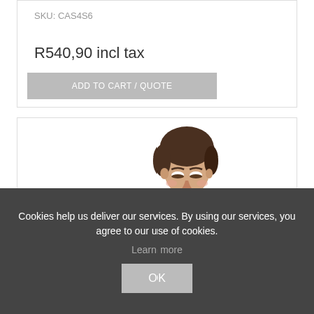SKU: CAS4S6
R540,90 incl tax
ADD TO CART / QUOTE
[Figure (photo): Young man with brown hair looking downward, wearing a light grey shirt, white background]
Cookies help us deliver our services. By using our services, you agree to our use of cookies.
Learn more
OK